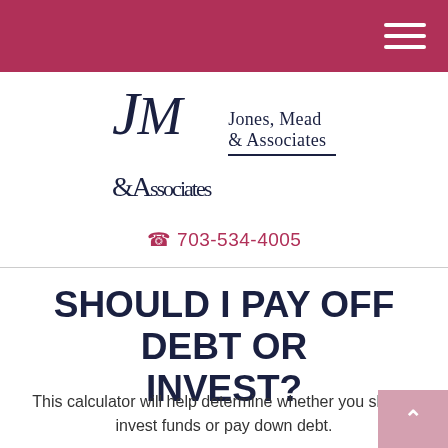Jones, Mead & Associates — navigation header bar
[Figure (logo): Jones, Mead & Associates company logo with stylized JM monogram in serif italic and company name text]
703-534-4005
SHOULD I PAY OFF DEBT OR INVEST?
This calculator will help determine whether you should invest funds or pay down debt.